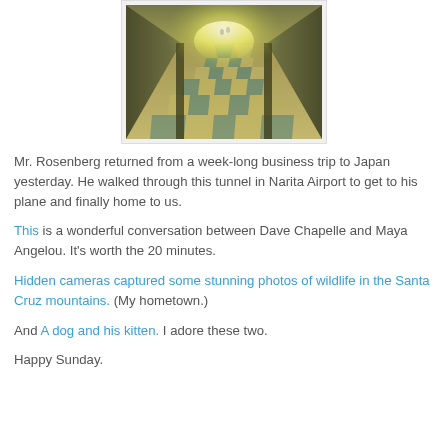[Figure (photo): A long tunnel corridor at Narita Airport with a checkered teal and white floor, moving walkways on either side, and a bright light at the far end. Photo has a vintage/filtered look with slight blur on the sides.]
Mr. Rosenberg returned from a week-long business trip to Japan yesterday. He walked through this tunnel in Narita Airport to get to his plane and finally home to us.
This is a wonderful conversation between Dave Chapelle and Maya Angelou. It's worth the 20 minutes.
Hidden cameras captured some stunning photos of wildlife in the Santa Cruz mountains. (My hometown.)
And A dog and his kitten. I adore these two.
Happy Sunday.